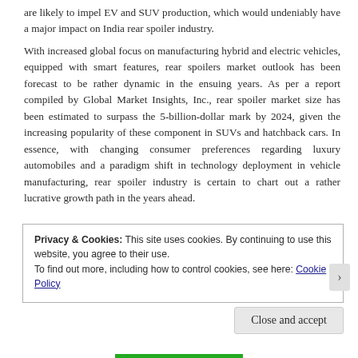are likely to impel EV and SUV production, which would undeniably have a major impact on India rear spoiler industry.
With increased global focus on manufacturing hybrid and electric vehicles, equipped with smart features, rear spoilers market outlook has been forecast to be rather dynamic in the ensuing years. As per a report compiled by Global Market Insights, Inc., rear spoiler market size has been estimated to surpass the 5-billion-dollar mark by 2024, given the increasing popularity of these component in SUVs and hatchback cars. In essence, with changing consumer preferences regarding luxury automobiles and a paradigm shift in technology deployment in vehicle manufacturing, rear spoiler industry is certain to chart out a rather lucrative growth path in the years ahead.
Privacy & Cookies: This site uses cookies. By continuing to use this website, you agree to their use.
To find out more, including how to control cookies, see here: Cookie Policy